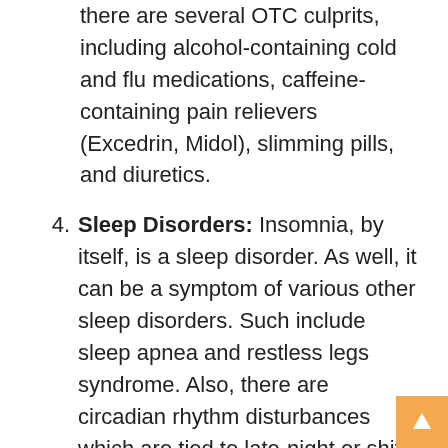there are several OTC culprits, including alcohol-containing cold and flu medications, caffeine-containing pain relievers (Excedrin, Midol), slimming pills, and diuretics.
4. Sleep Disorders: Insomnia, by itself, is a sleep disorder. As well, it can be a symptom of various other sleep disorders. Such include sleep apnea and restless legs syndrome. Also, there are circadian rhythm disturbances which are tied to late-night or shift work or jet lag.
Causes You Might Overlook
It's imperative that you identify all the possible